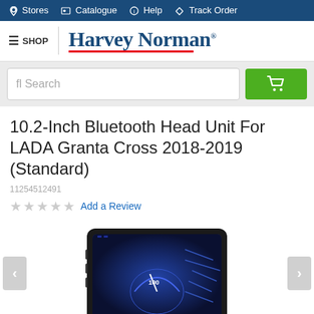Stores  Catalogue  Help  Track Order
[Figure (logo): Harvey Norman logo with red underline]
fl Search
10.2-Inch Bluetooth Head Unit For LADA Granta Cross 2018-2019 (Standard)
11254512491
★★★★★ Add a Review
[Figure (photo): Car head unit product image showing a 10.2-inch touchscreen display mounted in a car dashboard, displaying a navigation/speedometer interface]